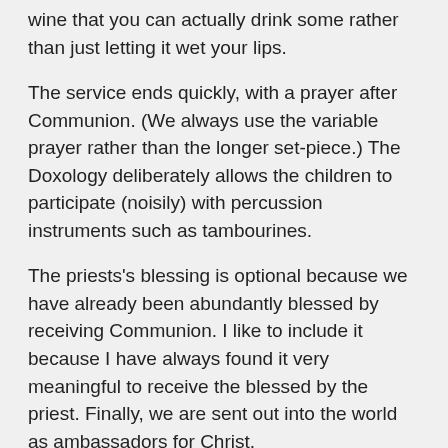wine that you can actually drink some rather than just letting it wet your lips.
The service ends quickly, with a prayer after Communion. (We always use the variable prayer rather than the longer set-piece.) The Doxology deliberately allows the children to participate (noisily) with percussion instruments such as tambourines.
The priests's blessing is optional because we have already been abundantly blessed by receiving Communion. I like to include it because I have always found it very meaningful to receive the blessed by the priest. Finally, we are sent out into the world as ambassadors for Christ.
[Figure (other): Green square button with upward-pointing chevron/arrow icon, used as a back-to-top navigation button]
God's Lost and Found: feeding pigs or home at a